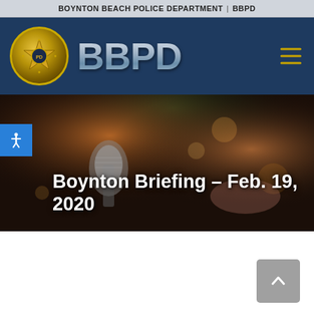BOYNTON BEACH POLICE DEPARTMENT | BBPD
[Figure (logo): BBPD logo: circular gold police badge seal on left, large silver/steel 'BBPD' text on right, on dark navy background with gold hamburger menu icon on far right]
[Figure (photo): Dark blurred background with a microphone in the foreground and bokeh light effects. Overlaid white bold text reads 'Boynton Briefing – Feb. 19, 2020'. Blue accessibility icon on far left.]
Boynton Briefing – Feb. 19, 2020